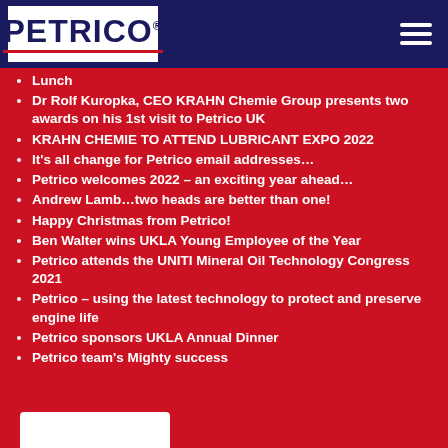PETRICO
Lunch
Dr Rolf Kuropka, CEO KRAHN Chemie Group presents two awards on his 1st visit to Petrico UK
KRAHN CHEMIE TO ATTEND LUBRICANT EXPO 2022
It's all change for Petrico email addresses…
Petrico welcomes 2022 – an exciting year ahead…
Andrew Lamb…two heads are better than one!
Happy Christmas from Petrico!
Ben Walter wins UKLA Young Employee of the Year
Petrico attends the UNITI Mineral Oil Technology Congress 2021
Petrico – using the latest technology to protect and preserve engine life
Petrico sponsors UKLA Annual Dinner
Petrico team's Mighty success